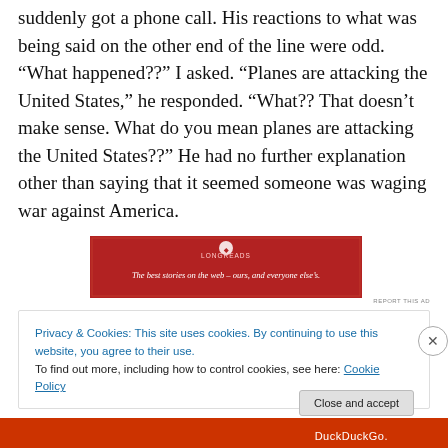suddenly got a phone call. His reactions to what was being said on the other end of the line were odd. “What happened??” I asked. “Planes are attacking the United States,” he responded. “What?? That doesn’t make sense. What do you mean planes are attacking the United States??” He had no further explanation other than saying that it seemed someone was waging war against America.
[Figure (other): Red advertisement banner with text: The best stories on the web – ours, and everyone else’s.]
REPORT THIS AD
Privacy & Cookies: This site uses cookies. By continuing to use this website, you agree to their use.
To find out more, including how to control cookies, see here: Cookie Policy
Close and accept
DuckDuckGo.